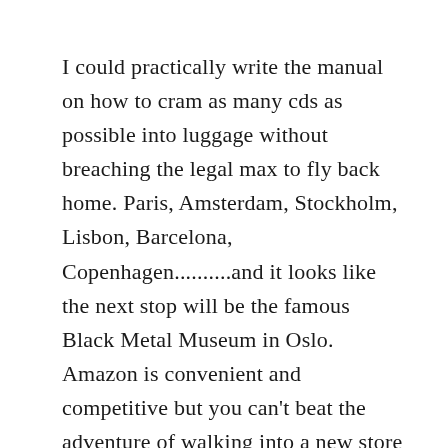I could practically write the manual on how to cram as many cds as possible into luggage without breaching the legal max to fly back home. Paris, Amsterdam, Stockholm, Lisbon, Barcelona, Copenhagen..........and it looks like the next stop will be the famous Black Metal Museum in Oslo. Amazon is convenient and competitive but you can't beat the adventure of walking into a new store with an open mind.

Still, I am dialling it back these days – a lot of cds got listened to once and then neglected for the next big pile to come along. Now I prefer to